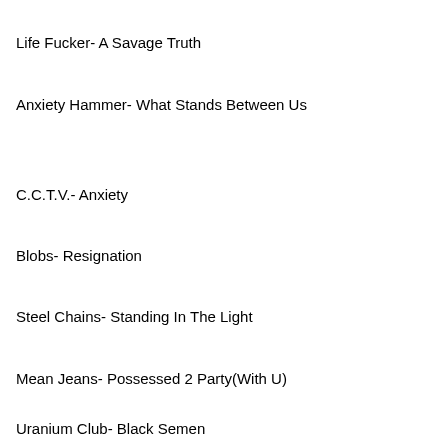Life Fucker- A Savage Truth
Anxiety Hammer- What Stands Between Us
C.C.T.V.- Anxiety
Blobs- Resignation
Steel Chains- Standing In The Light
Mean Jeans- Possessed 2 Party(With U)
Uranium Club- Black Semen